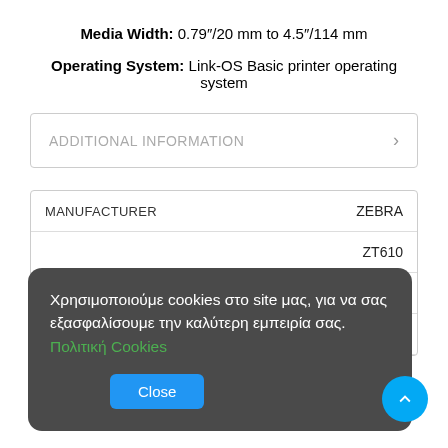Media Width: 0.79"/20 mm to 4.5"/114 mm
Operating System: Link-OS Basic printer operating system
ADDITIONAL INFORMATION
|  |  |
| --- | --- |
| MANUFACTURER | ZEBRA |
|  | ZT610 |
| PRINT METHOD | Thermal, Thermal Transfer |
| PRINT SPEED | 14 ips/356 mm per second |
Χρησιμοποιούμε cookies στο site μας, για να σας εξασφαλίσουμε την καλύτερη εμπειρία σας. Πολιτική Cookies